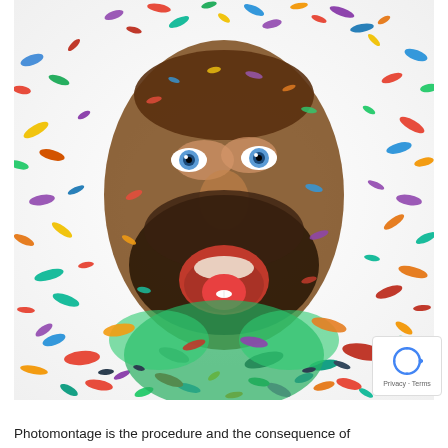[Figure (photo): Photomontage of a man's face constructed entirely from colorful pills, capsules, and tablets of various sizes and colors scattered around and forming the face. The person has blue eyes and an open mouth with a white capsule on the tongue. The pills are multicolored — red, blue, green, yellow, orange, white, black — spread across a white background.]
[Figure (logo): Google reCAPTCHA badge in bottom-right corner showing the reCAPTCHA circular arrow icon with 'Privacy - Terms' text below.]
Photomontage is the procedure and the consequence of